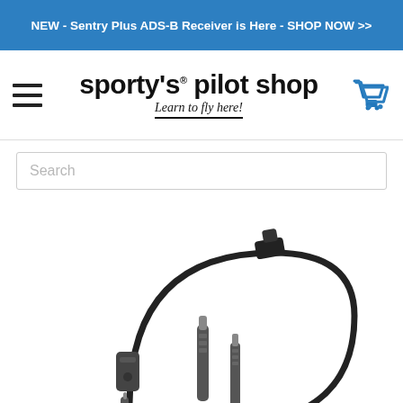NEW - Sentry Plus ADS-B Receiver is Here - SHOP NOW >>
[Figure (logo): Sporty's Pilot Shop logo with hamburger menu icon and shopping cart icon. Logo text reads "sporty's® pilot shop" with tagline "Learn to fly here!"]
Search
[Figure (photo): Aviation headset adapter/cable product with a coiled cord, clip, and two audio jack plugs (3.5mm and 6.3mm), photographed on white background]